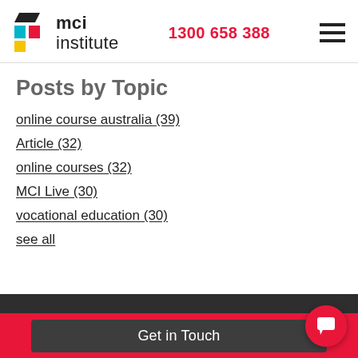MCI Institute — 1300 658 388
Posts by Topic
online course australia (39)
Article (32)
online courses (32)
MCI Live (30)
vocational education (30)
see all
Get in Touch